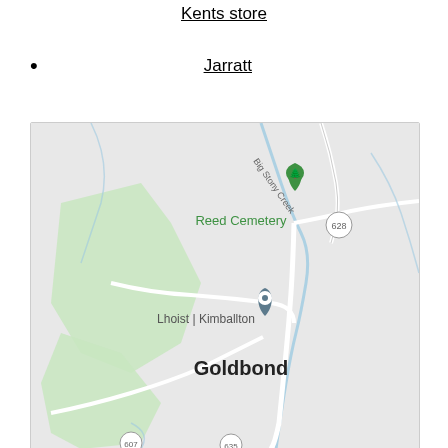Kents store
Jarratt
[Figure (map): Google Maps screenshot showing Goldbond area with Reed Cemetery marker (green), Lhoist | Kimballton location marker (grey), road 628, Big Stony Creek label, and Goldbond place name.]